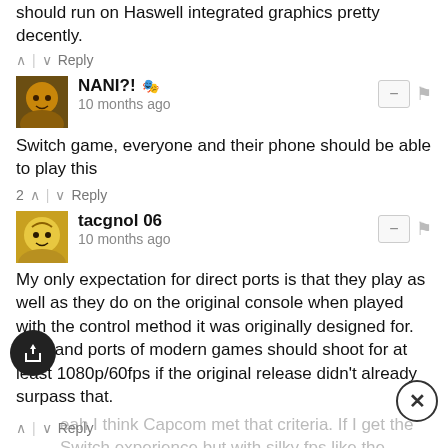should run on Haswell integrated graphics pretty decently.
2 ↑ | ↓ Reply
NANI?! 🎭
10 months ago
Switch game, everyone and their phone should be able to play this
2 ↑ | ↓ Reply
tacgnol 06
10 months ago
My only expectation for direct ports is that they play as well as they do on the original console when played with the control method it was originally designed for. That and ports of modern games should shoot for at least 1080p/60fps if the original release didn't already surpass that.
Yeah I think Capcom met that criteria. If I get the Switch experience but with silky fps like the Stories 2 port then that's good enough.
↑ | ↓ Reply